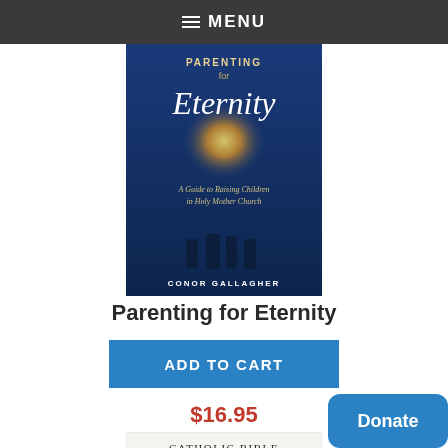MENU
[Figure (photo): Book cover for 'Parenting for Eternity' by Conor Gallagher — blue background with glowing light and silhouetted figures, subtitle: A Guide to Raising Children in Holy Mother Church]
Parenting for Eternity
ADD TO CART
$16.95
[Figure (photo): Book cover for 'Catholic Bible Dictionary' by Scott Hahn — top white section with title text, bottom section with Renaissance painting of a religious scene]
Catholic Bible Dict...